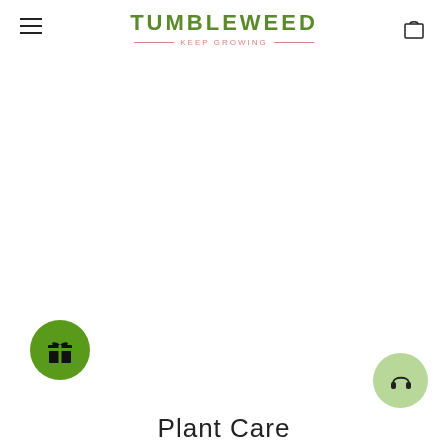TUMBLEWEED KEEP GROWING
[Figure (logo): Tumbleweed Keep Growing logo with green text and pink tagline underline]
[Figure (illustration): Green circle button with white gift/present icon]
[Figure (illustration): Light green circle button with headset/headphones icon]
Plant Care